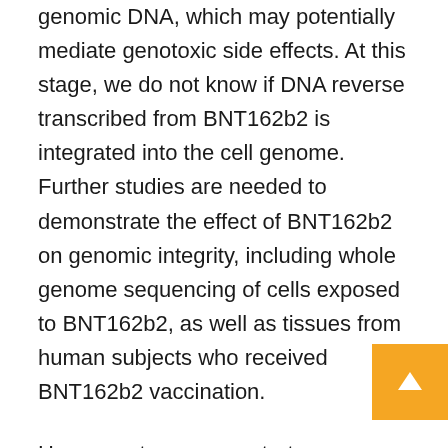genomic DNA, which may potentially mediate genotoxic side effects. At this stage, we do not know if DNA reverse transcribed from BNT162b2 is integrated into the cell genome. Further studies are needed to demonstrate the effect of BNT162b2 on genomic integrity, including whole genome sequencing of cells exposed to BNT162b2, as well as tissues from human subjects who received BNT162b2 vaccination.
Human autonomous retrotransposon LINE-1 is a cellular endogenous reverse transcriptase and the only remaining active transposon in humans, able to